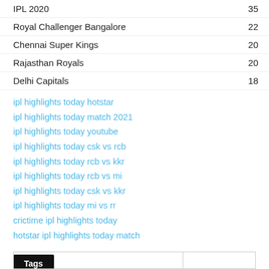IPL 2020	35
Royal Challenger Bangalore	22
Chennai Super Kings	20
Rajasthan Royals	20
Delhi Capitals	18
ipl highlights today hotstar
ipl highlights today match 2021
ipl highlights today youtube
ipl highlights today csk vs rcb
ipl highlights today rcb vs kkr
ipl highlights today rcb vs mi
ipl highlights today csk vs kkr
ipl highlights today mi vs rr
crictime ipl highlights today
hotstar ipl highlights today match
Tags
|  |  |